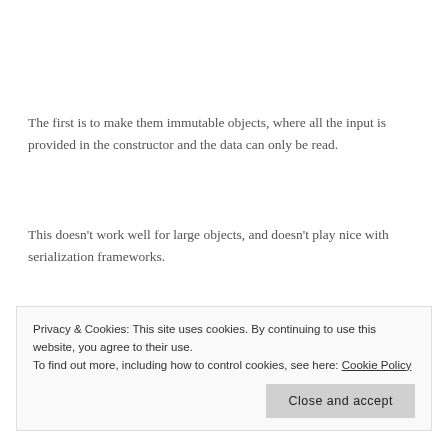The first is to make them immutable objects, where all the input is provided in the constructor and the data can only be read.
This doesn’t work well for large objects, and doesn’t play nice with serialization frameworks.
The better approach is to make all the properties.
Privacy & Cookies: This site uses cookies. By continuing to use this website, you agree to their use.
To find out more, including how to control cookies, see here: Cookie Policy
Close and accept
Of course, that means some other part of the code is